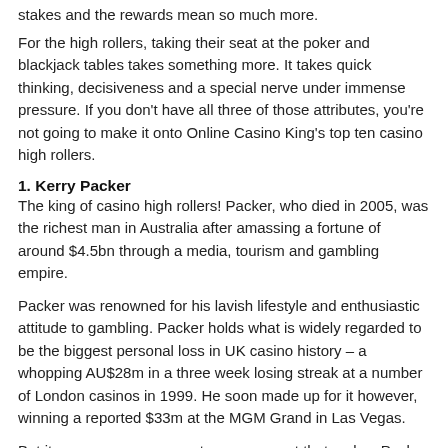stakes and the rewards mean so much more.
For the high rollers, taking their seat at the poker and blackjack tables takes something more. It takes quick thinking, decisiveness and a special nerve under immense pressure. If you don't have all three of those attributes, you're not going to make it onto Online Casino King's top ten casino high rollers.
1. Kerry Packer
The king of casino high rollers! Packer, who died in 2005, was the richest man in Australia after amassing a fortune of around $4.5bn through a media, tourism and gambling empire.
Packer was renowned for his lavish lifestyle and enthusiastic attitude to gambling. Packer holds what is widely regarded to be the biggest personal loss in UK casino history – a whopping AU$28m in a three week losing streak at a number of London casinos in 1999. He soon made up for it however, winning a reported $33m at the MGM Grand in Las Vegas.
But it was an even more outrageous event that makes Packer the ultimate high roller in the eyes of many. That